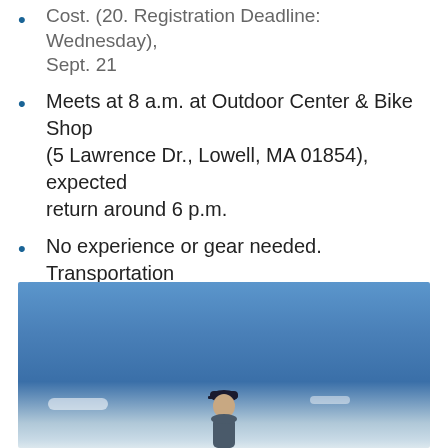Cost. (20. Registration Deadline: Wednesday), Sept. 21
Meets at 8 a.m. at Outdoor Center & Bike Shop (5 Lawrence Dr., Lowell, MA 01854), expected return around 6 p.m.
No experience or gear needed. Transportation provided.
Physical Exertion: Moderate
See our Hiking website for more information on the activity and location!
Register online - Sept. 24 Monadnock Hike
[Figure (photo): A person wearing a dark cap stands outdoors under a blue sky with a few white clouds, viewed from below at summit level.]